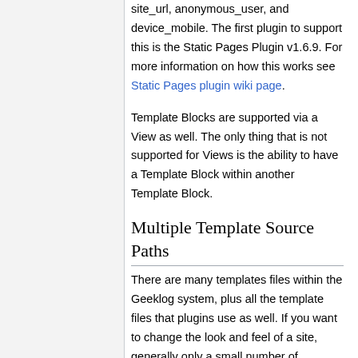site_url, anonymous_user, and device_mobile. The first plugin to support this is the Static Pages Plugin v1.6.9. For more information on how this works see Static Pages plugin wiki page.
Template Blocks are supported via a View as well. The only thing that is not supported for Views is the ability to have a Template Block within another Template Block.
Multiple Template Source Paths
There are many templates files within the Geeklog system, plus all the template files that plugins use as well. If you want to change the look and feel of a site, generally only a small number of template files are actually modified.